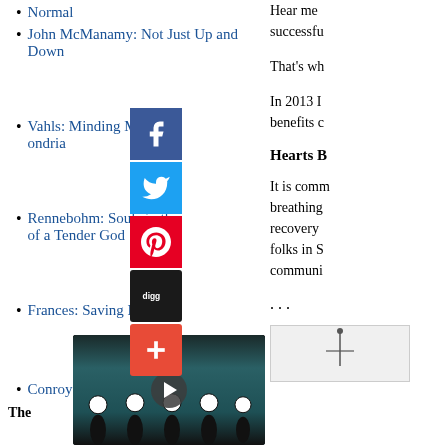Normal
John McManamy: Not Just Up and Down
Wahls: Minding My ondria
Rennebohm: Souls in the of a Tender God
Frances: Saving Normal
Conroy: Out of the Nightmare
The sy Spider
[Figure (screenshot): YouTube video embed: Itsy Bitsy Spider (R&B R...) with a play button overlay, showing dancers in black costumes in a school hallway]
Hear me successful
That's wh
In 2013 I benefits c
Hearts B
It is comm breathing recovery folks in S communi
. . .
[Figure (illustration): Small illustration at bottom right]